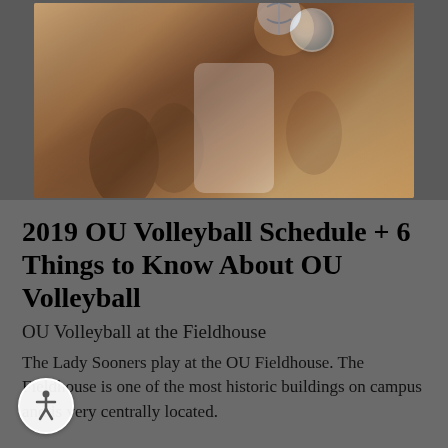[Figure (photo): Volleyball player in white uniform reaching up toward a volleyball, with hands of opposing players visible in the foreground, action sports photo.]
2019 OU Volleyball Schedule + 6 Things to Know About OU Volleyball
OU Volleyball at the Fieldhouse
The Lady Sooners play at the OU Fieldhouse. The Fieldhouse is one of the most historic buildings on campus and is very centrally located.